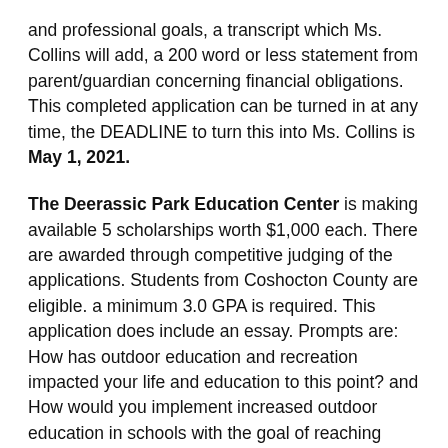and professional goals, a transcript which Ms. Collins will add, a 200 word or less statement from parent/guardian concerning financial obligations. This completed application can be turned in at any time, the DEADLINE to turn this into Ms. Collins is May 1, 2021.
The Deerassic Park Education Center is making available 5 scholarships worth $1,000 each. There are awarded through competitive judging of the applications. Students from Coshocton County are eligible. a minimum 3.0 GPA is required. This application does include an essay. Prompts are: How has outdoor education and recreation impacted your life and education to this point? and How would you implement increased outdoor education in schools with the goal of reaching more youth? You send and applications must be